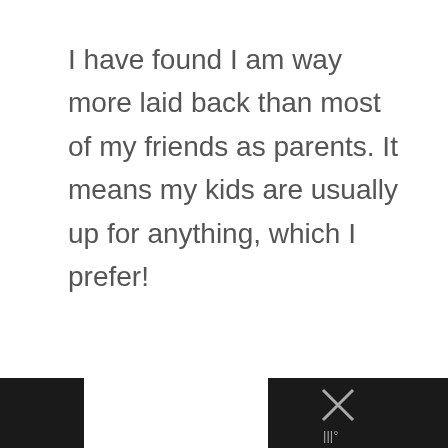I have found I am way more laid back than most of my friends as parents. It means my kids are usually up for anything, which I prefer!
Reply
CRYSTAL
AUGUST 20, 2015 AT 9:45 PM